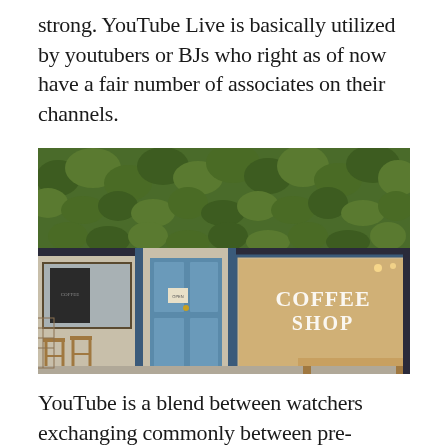strong. YouTube Live is basically utilized by youtubers or BJs who right as of now have a fair number of associates on their channels.
[Figure (photo): Exterior of a coffee shop with ivy/vines covering the upper facade, a teal/blue door in the center, large windows with 'COFFEE SHOP' text written on the glass, wooden stools visible to the left, and a bench in the lower right.]
YouTube is a blend between watchers exchanging commonly between pre-recorded